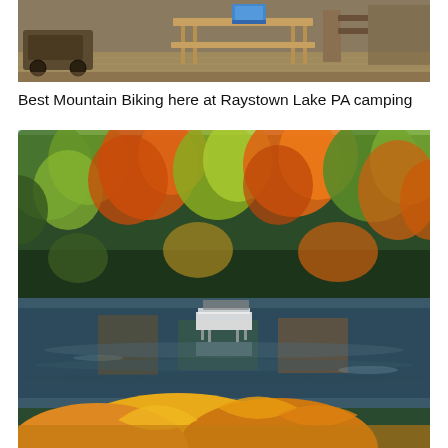[Figure (photo): Outdoor campsite area with dry grass ground, a wooden picnic table structure with a blue cooler on top, and various equipment. Earthy brown tones with hay-covered ground.]
Best Mountain Biking here at Raystown Lake PA camping
[Figure (photo): Scenic autumn forest surrounding a calm lake. Colorful fall foliage in orange, red, yellow, and green trees line the shore. A small white dock or raft is visible on the water in the middle distance. Large yellow-orange leaves are partially visible in the foreground bottom. The trees reflect in the still water.]